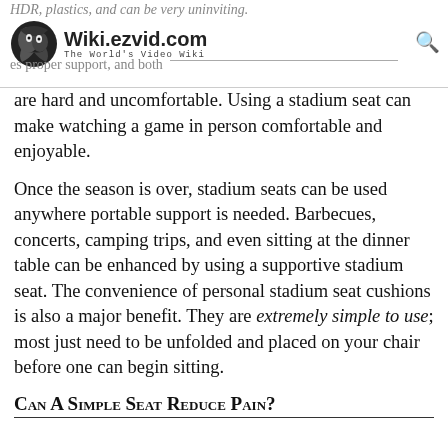Wiki.ezvid.com – The World's Video Wiki
are hard and uncomfortable. Using a stadium seat can make watching a game in person comfortable and enjoyable.
Once the season is over, stadium seats can be used anywhere portable support is needed. Barbecues, concerts, camping trips, and even sitting at the dinner table can be enhanced by using a supportive stadium seat. The convenience of personal stadium seat cushions is also a major benefit. They are extremely simple to use; most just need to be unfolded and placed on your chair before one can begin sitting.
Can A Simple Seat Reduce Pain?